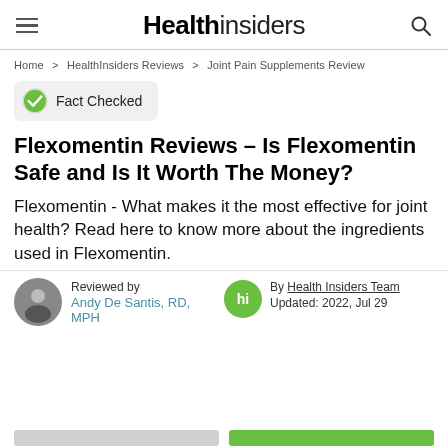Health insiders
Home > HealthInsiders Reviews > Joint Pain Supplements Review
Fact Checked
Flexomentin Reviews – Is Flexomentin Safe and Is It Worth The Money?
Flexomentin - What makes it the most effective for joint health? Read here to know more about the ingredients used in Flexomentin.
Reviewed by Andy De Santis, RD, MPH
By Health Insiders Team Updated: 2022, Jul 29